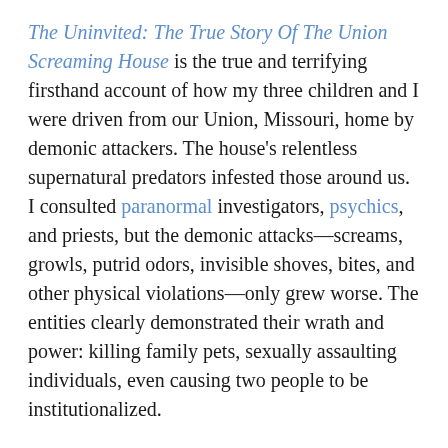The Uninvited: The True Story Of The Union Screaming House is the true and terrifying firsthand account of how my three children and I were driven from our Union, Missouri, home by demonic attackers. The house's relentless supernatural predators infested those around us. I consulted paranormal investigators, psychics, and priests, but the demonic attacks—screams, growls, putrid odors, invisible shoves, bites, and other physical violations—only grew worse. The entities clearly demonstrated their wrath and power: killing family pets, sexually assaulting individuals, even causing two people to be institutionalized.
Since the release of The Uninvited: The True Story Of The Union Screaming House, I have been asked numerous times, "What do you think happened in your life?"